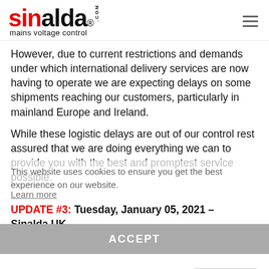sinalda.com mains voltage control
However, due to current restrictions and demands under which international delivery services are now having to operate we are expecting delays on some shipments reaching our customers, particularly in mainland Europe and Ireland.
While these logistic delays are out of our control rest assured that we are doing everything we can to provide you with the best and promptest service possible.
This website uses cookies to ensure you get the best experience on our website.
Learn more
UPDATE #3: Tuesday, January 05, 2021 – Sinalda UK
Following the announcement by Boris